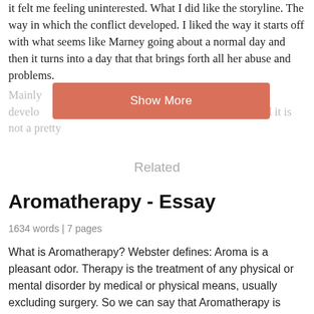it felt me feeling uninterested. What I did like the storyline. The way in which the conflict developed. I liked the way it starts off with what seems like Marney going about a normal day and then it turns into a day that that brings forth all her abuse and problems.
Mainly [obscured by button] se develo[obscured] in the life of Marney. And it is not a pretty
[Figure (other): Show More button overlay in salmon/terra-cotta color]
Related
Aromatherapy - Essay
1634 words | 7 pages
What is Aromatherapy? Webster defines: Aroma is a pleasant odor. Therapy is the treatment of any physical or mental disorder by medical or physical means, usually excluding surgery. So we can say that Aromatherapy is therapeutic mentally and physical. Aroma